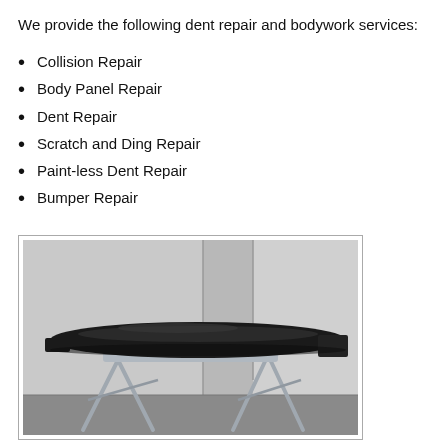We provide the following dent repair and bodywork services:
Collision Repair
Body Panel Repair
Dent Repair
Scratch and Ding Repair
Paint-less Dent Repair
Bumper Repair
[Figure (photo): A black car hood or bumper panel resting on a metal folding stand/sawhorse in a garage or body shop, viewed from the side. The background shows white/grey walls with vertical lines.]